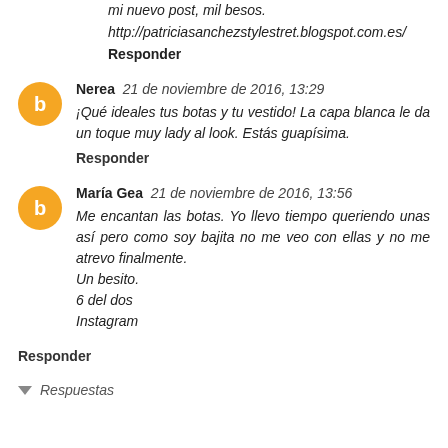http://patriciasanchezstylestret.blogspot.com.es/
Responder
Nerea  21 de noviembre de 2016, 13:29
¡Qué ideales tus botas y tu vestido! La capa blanca le da un toque muy lady al look. Estás guapísima.
Responder
María Gea  21 de noviembre de 2016, 13:56
Me encantan las botas. Yo llevo tiempo queriendo unas así pero como soy bajita no me veo con ellas y no me atrevo finalmente. Un besito.
6 del dos
Instagram
Responder
Respuestas